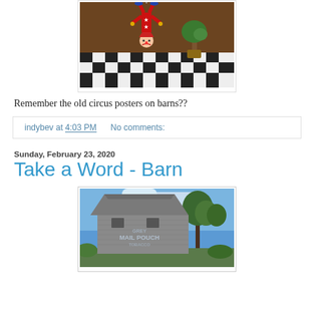[Figure (illustration): Digital illustration of an upside-down clown/doll figure in a red starred outfit hanging from ceiling, with a checkered black and white floor and a topiary tree in a brown room.]
Remember the old circus posters on barns??
indybev at 4:03 PM    No comments:
Sunday, February 23, 2020
Take a Word - Barn
[Figure (photo): Photograph of an old weathered barn with 'Grey Mail Pouch Tobacco' advertisement painted on its side, with blue sky and trees in background.]